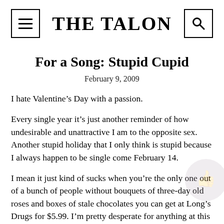THE TALON
For a Song: Stupid Cupid
February 9, 2009
I hate Valentine’s Day with a passion.
Every single year it’s just another reminder of how undesirable and unattractive I am to the opposite sex. Another stupid holiday that I only think is stupid because I always happen to be single come February 14.
I mean it just kind of sucks when you’re the only one out of a bunch of people without bouquets of three-day old roses and boxes of stale chocolates you can get at Long’s Drugs for $5.99. I’m pretty desperate for anything at this point and I know a bunch of other girls in the same exact situation are too. You could probably buy one of us anything